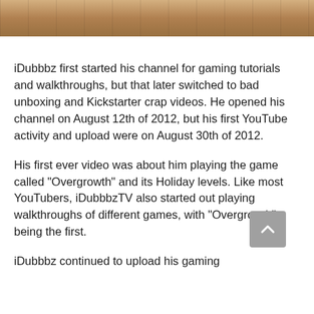[Figure (photo): Cropped photo showing legs/feet on a wooden floor background, part of a larger image cut off at top of page]
iDubbbz first started his channel for gaming tutorials and walkthroughs, but that later switched to bad unboxing and Kickstarter crap videos. He opened his channel on August 12th of 2012, but his first YouTube activity and upload were on August 30th of 2012.
His first ever video was about him playing the game called “Overgrowth” and its Holiday levels. Like most YouTubers, iDubbbzTV also started out playing walkthroughs of different games, with “Overgrowth” being the first.
iDubbbz continued to upload his gaming